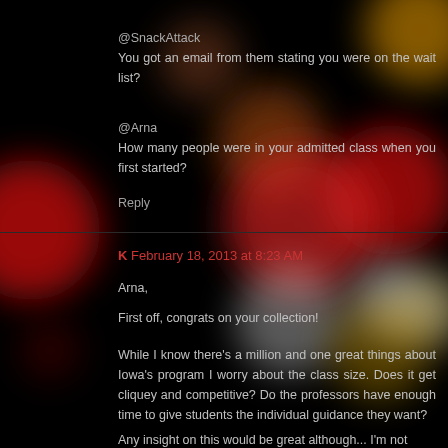[Figure (photo): Dark bokeh background with blurred colorful circles of light (red, orange, white, brown) on a black background, resembling out-of-focus city lights at night.]
@SnackAttack
You got an email from them stating you were on the wait list?
@Arna
How many people were in your admitted class when you first started?
Reply
K  February 18, 2013 at 8:23 AM
Arna,
First off, congrats on your collection!
While I know there's a million and one great things about Iowa's program I worry about the class size. Does it get cliquey and competitive? Do the professors have enough time to give students the individual guidance they want?
Any insight on this would be great although... I'm not